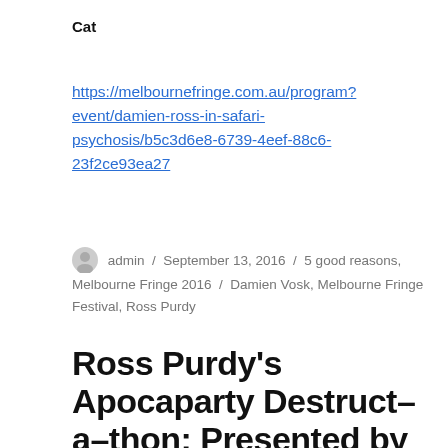Cat
https://melbournefringe.com.au/program?event/damien-ross-in-safari-psychosis/b5c3d6e8-6739-4eef-88c6-23f2ce93ea27
admin / September 13, 2016 / 5 good reasons, Melbourne Fringe 2016 / Damien Vosk, Melbourne Fringe Festival, Ross Purdy
Ross Purdy's Apocaparty Destruct–a–thon: Presented by Demente Grande Variety Hour